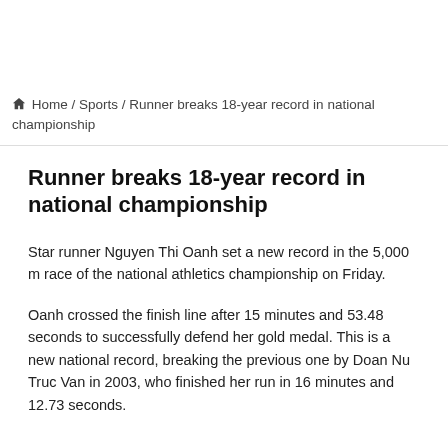🏠 Home / Sports / Runner breaks 18-year record in national championship
Runner breaks 18-year record in national championship
Star runner Nguyen Thi Oanh set a new record in the 5,000 m race of the national athletics championship on Friday.
Oanh crossed the finish line after 15 minutes and 53.48 seconds to successfully defend her gold medal. This is a new national record, breaking the previous one by Doan Nu Truc Van in 2003, who finished her run in 16 minutes and 12.73 seconds.